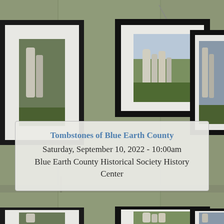[Figure (photo): Gallery wall with sage-green painted drywall panels showing three framed photographs of cemetery tombstones — left frame partially cropped, center frame fully visible with white mat and black frame showing old gravestones in a green field, right frame partially cropped at edge. The image appears twice (top half and bottom strip) with a text overlay box in between.]
Tombstones of Blue Earth County
Saturday, September 10, 2022 - 10:00am
Blue Earth County Historical Society History Center